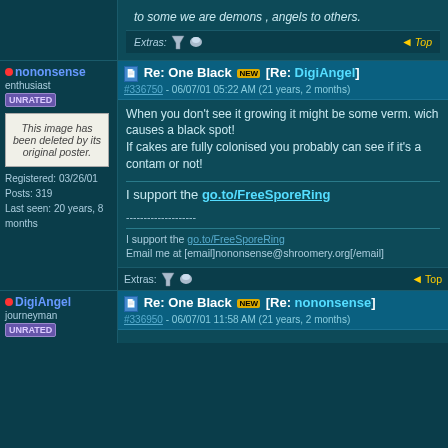to some we are demons , angels to others.
Extras: [icons] Top
nononsense
enthusiast
UNRATED
Re: One Black [NEW] [Re: DigiAngel]
#336750 - 06/07/01 05:22 AM (21 years, 2 months)
When you don't see it growing it might be some verm. wich causes a black spot!
If cakes are fully colonised you probably can see if it's a contam or not!
I support the go.to/FreeSporeRing
--------------------
I support the go.to/FreeSporeRing
Email me at [email]nononsense@shroomery.org[/email]
Extras: [icons] Top
Registered: 03/26/01
Posts: 319
Last seen: 20 years, 8 months
Re: One Black [NEW] [Re: nononsense]
DigiAngel
journeyman
UNRATED
#336950 - 06/07/01 11:58 AM (21 years, 2 months)